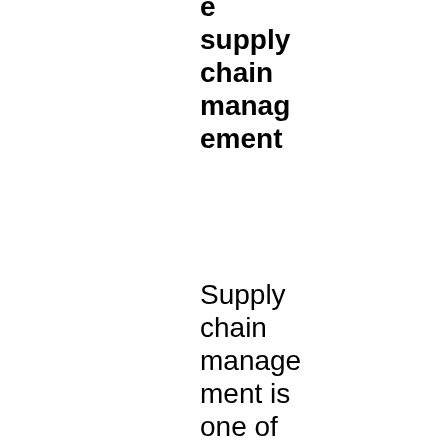e supply chain management
Supply chain management is one of the most pressing concerns as every e-commerce business